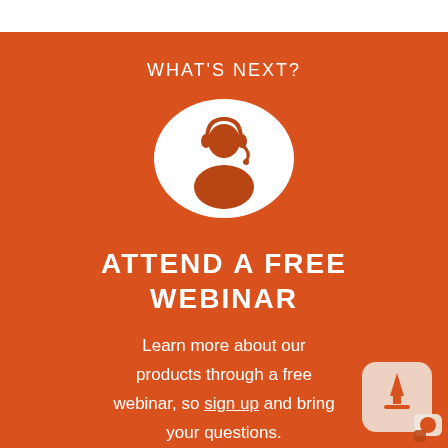WHAT'S NEXT?
[Figure (illustration): White circle with orange customer support / headset person silhouette icon in the center]
ATTEND A FREE WEBINAR
Learn more about our products through a free webinar, so sign up and bring your questions.
[Figure (logo): Corner logo icon with upload arrow and chat bubble on rounded square background]